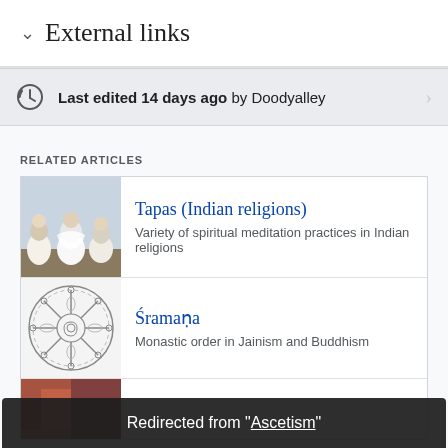External links
Last edited 14 days ago by Doodyalley
RELATED ARTICLES
Tapas (Indian religions)
Variety of spiritual meditation practices in Indian religions
Śramaṇa
Monastic order in Jainism and Buddhism
Redirected from "Ascetism"